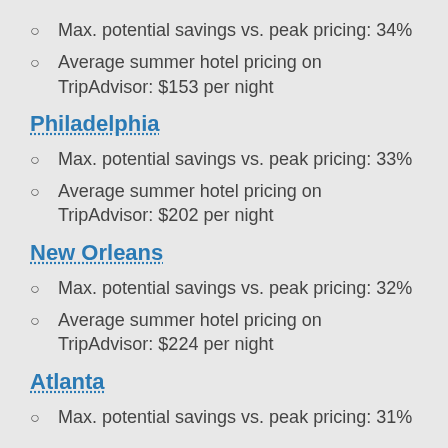Max. potential savings vs. peak pricing: 34%
Average summer hotel pricing on TripAdvisor: $153 per night
Philadelphia
Max. potential savings vs. peak pricing: 33%
Average summer hotel pricing on TripAdvisor: $202 per night
New Orleans
Max. potential savings vs. peak pricing: 32%
Average summer hotel pricing on TripAdvisor: $224 per night
Atlanta
Max. potential savings vs. peak pricing: 31%